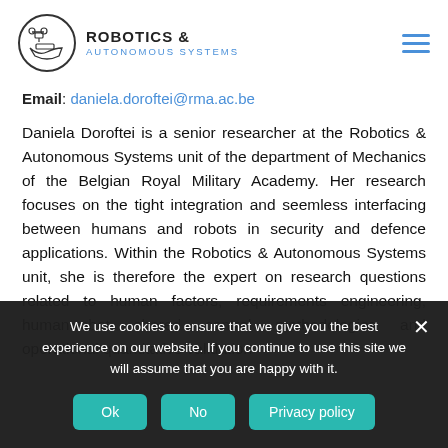ROBOTICS & AUTONOMOUS SYSTEMS
Email: daniela.doroftei@rma.ac.be
Daniela Doroftei is a senior researcher at the Robotics & Autonomous Systems unit of the department of Mechanics of the Belgian Royal Military Academy. Her research focuses on the tight integration and seemless interfacing between humans and robots in security and defence applications. Within the Robotics & Autonomous Systems unit, she is therefore the expert on research questions related to human factors, requirements engineering, human-robot shared control methodologies and operational quantitative validation
We use cookies to ensure that we give you the best experience on our website. If you continue to use this site we will assume that you are happy with it.